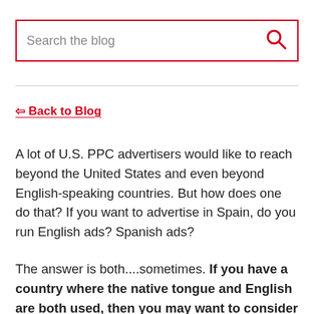[Figure (other): Search bar with red border containing placeholder text 'Search the blog' and a red magnifying glass icon on the right]
⇦ Back to Blog
A lot of U.S. PPC advertisers would like to reach beyond the United States and even beyond English-speaking countries. But how does one do that? If you want to advertise in Spain, do you run English ads? Spanish ads?
The answer is both....sometimes. If you have a country where the native tongue and English are both used, then you may want to consider targeting two